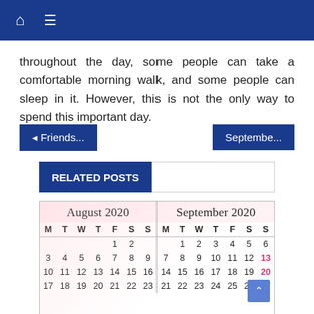🏠 ☰
throughout the day, some people can take a comfortable morning walk, and some people can sleep in it. However, this is not the only way to spend this important day.
◄ Friends...
Septembe...
RELATED POSTS
[Figure (table-as-image): Two-month calendar showing August 2020 and September 2020 with dates laid out in M T W T F S S columns, on a pink floral background.]